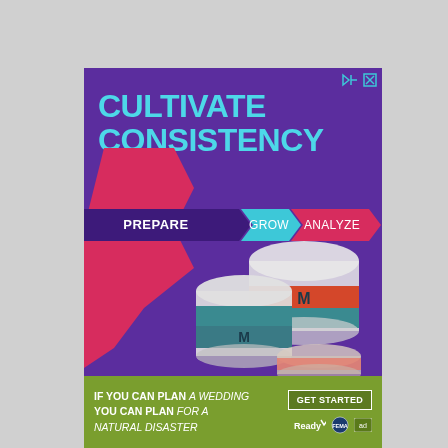[Figure (illustration): Advertisement banner with purple background showing 'CULTIVATE CONSISTENCY' in large teal text. Below is a process flow with three chevron steps: PREPARE, GROW, ANALYZE. Red geometric shape on left side. Product images of Moroccanoil containers at bottom. Top right has close/skip icons.]
[Figure (infographic): Bottom banner ad on olive green background: 'IF YOU CAN PLAN A WEDDING YOU CAN PLAN FOR A NATURAL DISASTER' with GET STARTED button and Ready/FEMA/ad logos.]